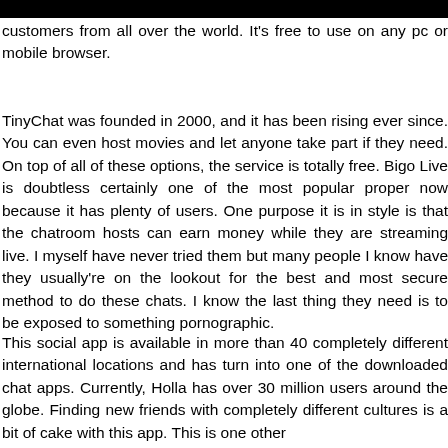customers from all over the world. It's free to use on any pc or mobile browser.
TinyChat was founded in 2000, and it has been rising ever since. You can even host movies and let anyone take part if they need. On top of all of these options, the service is totally free. Bigo Live is doubtless certainly one of the most popular proper now because it has plenty of users. One purpose it is in style is that the chatroom hosts can earn money while they are streaming live. I myself have never tried them but many people I know have they usually're on the lookout for the best and most secure method to do these chats. I know the last thing they need is to be exposed to something pornographic.
This social app is available in more than 40 completely different international locations and has turn into one of the downloaded chat apps. Currently, Holla has over 30 million users around the globe. Finding new friends with completely different cultures is a bit of cake with this app. This is one other